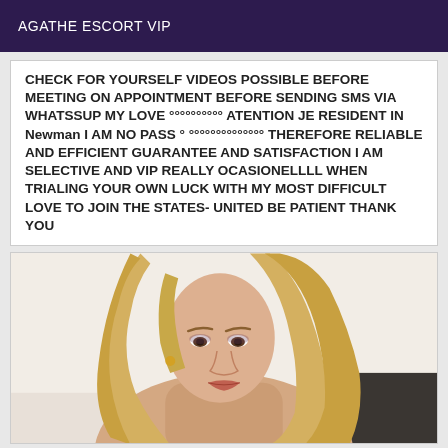AGATHE ESCORT VIP
CHECK FOR YOURSELF VIDEOS POSSIBLE BEFORE MEETING ON APPOINTMENT BEFORE SENDING SMS VIA WHATSSUP MY LOVE °°°°°°°°°° ATENTION JE RESIDENT IN Newman I AM NO PASS ° °°°°°°°°°°°°°° THEREFORE RELIABLE AND EFFICIENT GUARANTEE AND SATISFACTION I AM SELECTIVE AND VIP REALLY OCASIONELLLL WHEN TRIALING YOUR OWN LUCK WITH MY MOST DIFFICULT LOVE TO JOIN THE STATES- UNITED BE PATIENT THANK YOU
[Figure (photo): Photo of a blonde woman looking over her shoulder]